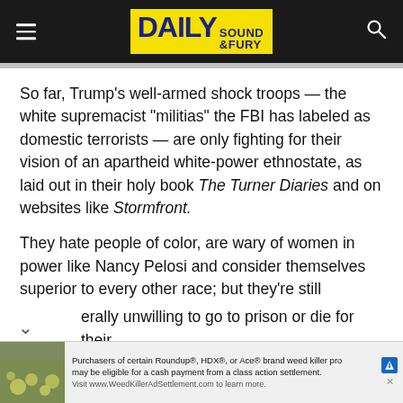[Figure (logo): Daily Sound & Fury website header with hamburger menu, yellow logo box, and search icon on dark background]
So far, Trump’s well-armed shock troops — the white supremacist “militias” the FBI has labeled as domestic terrorists — are only fighting for their vision of an apartheid white-power ethnostate, as laid out in their holy book The Turner Diaries and on websites like Stormfront.
They hate people of color, are wary of women in power like Nancy Pelosi and consider themselves superior to every other race; but they’re still generally unwilling to go to prison or die for their
[Figure (other): Advertisement banner: Purchasers of certain Roundup®, HDX®, or Ace® brand weed killer products may be eligible for a cash payment from a class action settlement. Visit www.WeedKillerAdSettlement.com to learn more.]